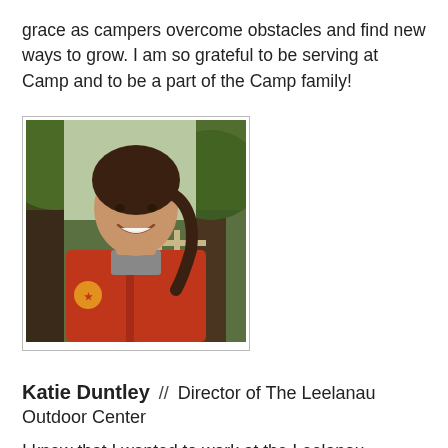grace as campers overcome obstacles and find new ways to grow. I am so grateful to be serving at Camp and to be a part of the Camp family!
[Figure (photo): Headshot of Katie Duntley, a woman with brown hair in a ponytail, wearing a red fleece jacket, smiling, standing outdoors with trees in background.]
Katie Duntley // Director of The Leelanau Outdoor Center
I knew that I wanted to work at the Leelanau Outdoor Center (LOC) ever since I first heard about it during the summer before my freshman year of college.  "Playing outside with"